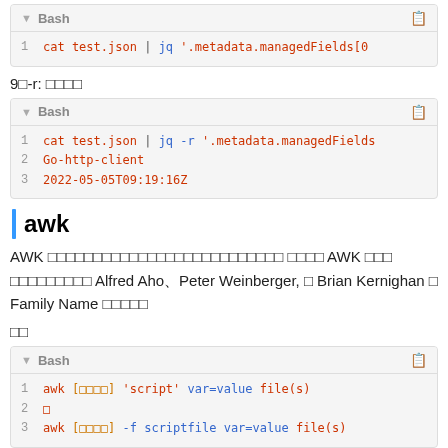[Figure (screenshot): Code block showing Bash command: cat test.json | jq '.metadata.managedFields[0]...]
9□-r: □□□□
[Figure (screenshot): Code block showing Bash commands: 1 cat test.json | jq -r '.metadata.managedFields... 2 Go-http-client 3 2022-05-05T09:19:16Z]
awk
AWK □□□□□□□□□□□□□□□□□□□□□□□□□□ □□□□ AWK □□□ □□□□□□□□□ Alfred Aho、Peter Weinberger, □ Brian Kernighan □ Family Name □□□□□
□□
[Figure (screenshot): Code block showing Bash commands: 1 awk [□□□□] 'script' var=value file(s) 2 □ 3 awk [□□□□] -f scriptfile var=value file(s)]